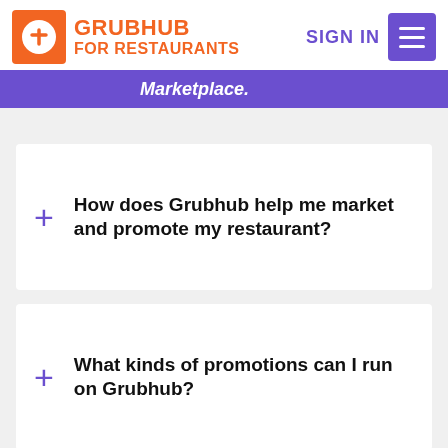Grubhub for Restaurants — Marketplace. SIGN IN
How does Grubhub help me market and promote my restaurant?
What kinds of promotions can I run on Grubhub?
How can I tell if my promotions are having the impact I want?